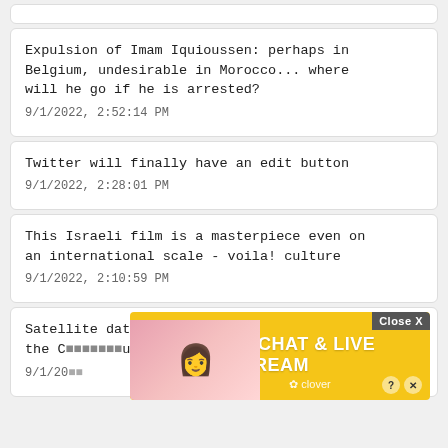Expulsion of Imam Iquioussen: perhaps in Belgium, undesirable in Morocco... where will he go if he is arrested?
9/1/2022, 2:52:14 PM
Twitter will finally have an edit button
9/1/2022, 2:28:01 PM
This Israeli film is a masterpiece even on an international scale - voila! culture
9/1/2022, 2:10:59 PM
Satellite data: Massive algal blo...n the C... just
9/1/20...
[Figure (screenshot): Advertisement overlay with yellow background showing 'CHAT & LIVE STREAM' text with clover branding, a close button, and a woman photo on the left side.]